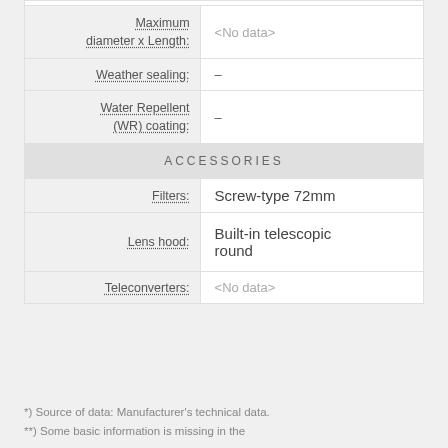| Property | Value |
| --- | --- |
| Maximum diameter x Length: | <No data> |
| Weather sealing: | – |
| Water Repellent (WR) coating: | – |
| ACCESSORIES |  |
| Filters: | Screw-type 72mm |
| Lens hood: | Built-in telescopic round |
| Teleconverters: | <No data> |
*) Source of data: Manufacturer's technical data.
**) Some basic information is missing in the